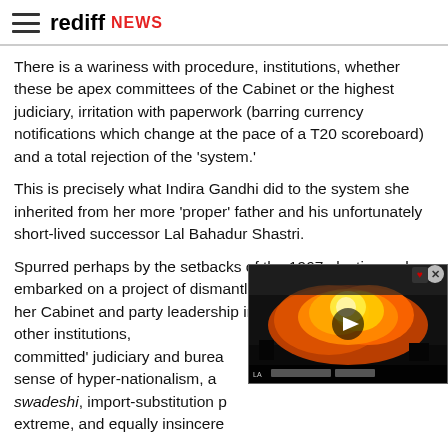rediff NEWS
There is a wariness with procedure, institutions, whether these be apex committees of the Cabinet or the highest judiciary, irritation with paperwork (barring currency notifications which change at the pace of a T20 scoreboard) and a total rejection of the 'system.'
This is precisely what Indira Gandhi did to the system she inherited from her more 'proper' father and his unfortunately short-lived successor Lal Bahadur Shastri.
Spurred perhaps by the setbacks of the 1967 elections, she embarked on a project of dismantling that 'system,' reducing her Cabinet and party leadership into 'yes-men,' undermining other institutions, creating a 'committed' judiciary and bureaucracy, invoking a sense of hyper-nationalism, an extreme swadeshi, import-substitution policy taken to the extreme, and equally insincere...
[Figure (screenshot): Video overlay showing flames/fire scene with play button and video control bar at bottom]
The RSS has never really questioned most of these in principle as much as they detested Nehru's philosophy and policies.